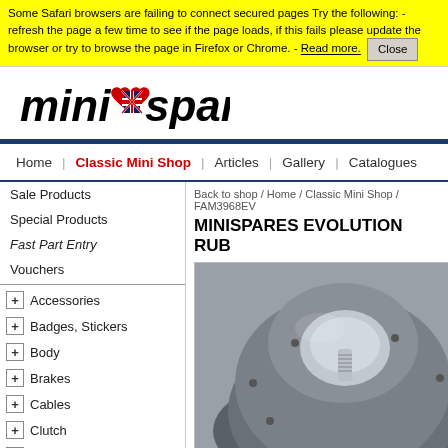Some Safari browsers are failing to connect secured pages Try the following: - refresh the page a few time to see if the page loads, if this fails please update the browser or try to browse the page in Firefox or Chrome. - Read more. Close
[Figure (logo): mini spares logo with Union Jack heart icon, italic bold black text]
Home | Classic Mini Shop | Articles | Gallery | Catalogues
Back to shop / Home / Classic Mini Shop / FAM3968EV
MINISPARES EVOLUTION RUB
Sale Products
Special Products
Fast Part Entry
Vouchers
Accessories
Badges, Stickers
Body
Brakes
Cables
Clutch
Cooling, heating
Drivetrain
Electrics
[Figure (photo): Close-up photo of a metal dome-shaped component (rubber cone?) with a threaded stud/socket in the center, dark metallic grey color]